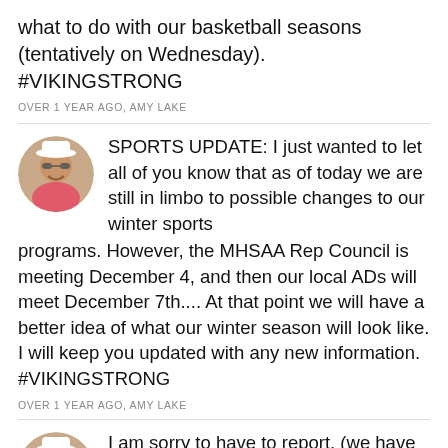what to do with our basketball seasons (tentatively on Wednesday). #VIKINGSTRONG
OVER 1 YEAR AGO, AMY LAKE
SPORTS UPDATE: I just wanted to let all of you know that as of today we are still in limbo to possible changes to our winter sports programs. However, the MHSAA Rep Council is meeting December 4, and then our local ADs will meet December 7th.... At that point we will have a better idea of what our winter season will look like. I will keep you updated with any new information. #VIKINGSTRONG
OVER 1 YEAR AGO, AMY LAKE
I am sorry to have to report, (we have been informed by the health